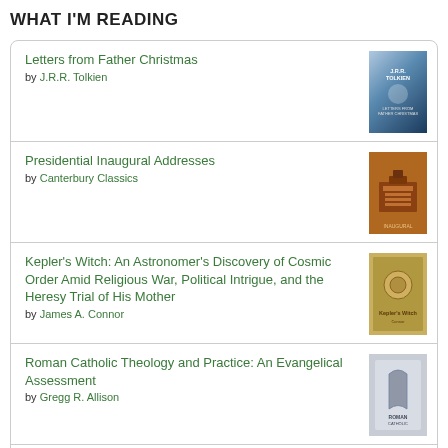WHAT I'M READING
Letters from Father Christmas by J.R.R. Tolkien
Presidential Inaugural Addresses by Canterbury Classics
Kepler's Witch: An Astronomer's Discovery of Cosmic Order Amid Religious War, Political Intrigue, and the Heresy Trial of His Mother by James A. Connor
Roman Catholic Theology and Practice: An Evangelical Assessment by Gregg R. Allison
Ten Tough Problems in Christian Thought and Belief: A Minister-Turned-Atheist Shows Why You Should Ditch the Faith by David Madison